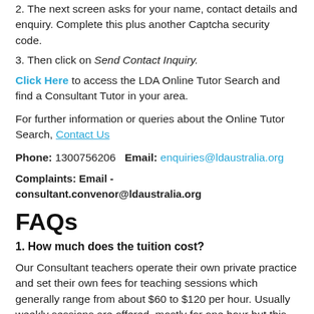2. The next screen asks for your name, contact details and enquiry. Complete this plus another Captcha security code.
3. Then click on Send Contact Inquiry.
Click Here to access the LDA Online Tutor Search and find a Consultant Tutor in your area.
For further information or queries about the Online Tutor Search, Contact Us
Phone: 1300756206    Email: enquiries@ldaustralia.org
Complaints: Email - consultant.convenor@ldaustralia.org
FAQs
1. How much does the tuition cost?
Our Consultant teachers operate their own private practice and set their own fees for teaching sessions which generally range from about $60 to $120 per hour. Usually weekly sessions are offered, mostly for one hour but this can vary depending on